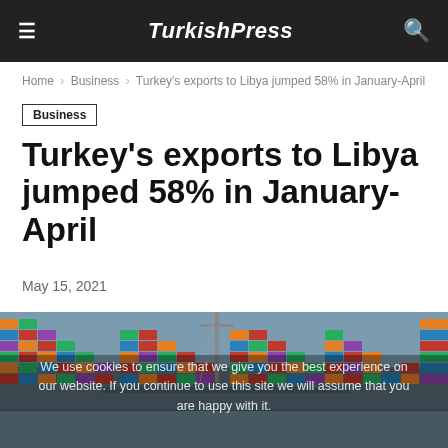TurkishPress
Home › Business › Turkey's exports to Libya jumped 58% in January-April
Business
Turkey's exports to Libya jumped 58% in January-April
May 15, 2021
[Figure (photo): Aerial view of a shipping port with colorful stacked cargo containers]
We use cookies to ensure that we give you the best experience on our website. If you continue to use this site we will assume that you are happy with it.